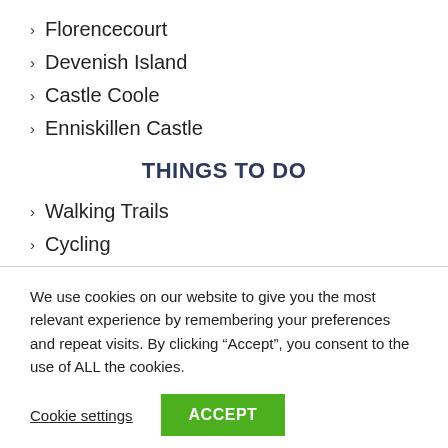> Florencecourt
> Devenish Island
> Castle Coole
> Enniskillen Castle
THINGS TO DO
> Walking Trails
> Cycling
We use cookies on our website to give you the most relevant experience by remembering your preferences and repeat visits. By clicking “Accept”, you consent to the use of ALL the cookies.
Cookie settings    ACCEPT